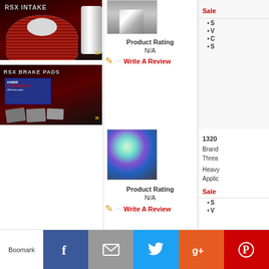[Figure (photo): RSX INTAKE banner ad showing air filter on dark red/black background]
[Figure (photo): RSX BRAKE PADS banner ad showing Hawk brake pads box and pads on dark background]
[Figure (photo): Product image - chrome/silver automotive part on brown background]
Product Rating
N/A
Write A Review
[Figure (photo): Product image - iridescent rainbow shift knob ball on carbon fiber background]
Product Rating
N/A
Write A Review
Sale
S
V
C
S
1320
Brand
Threa
Heavy
Applic
Sale
S
V
Boomark